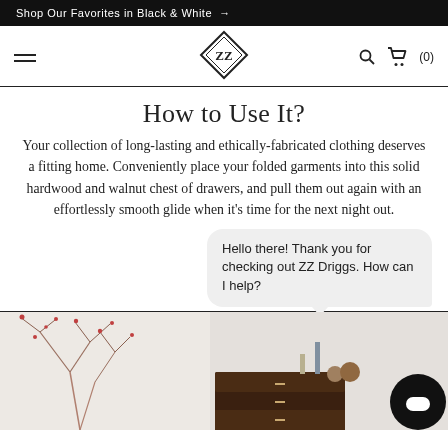Shop Our Favorites in Black & White →
[Figure (logo): ZZ Driggs diamond-shaped logo with navigation bar including hamburger menu, search icon, and cart (0)]
How to Use It?
Your collection of long-lasting and ethically-fabricated clothing deserves a fitting home. Conveniently place your folded garments into this solid hardwood and walnut chest of drawers, and pull them out again with an effortlessly smooth glide when it's time for the next night out.
Hello there! Thank you for checking out ZZ Driggs. How can I help?
[Figure (photo): Bottom portion of a lifestyle photo showing a dark walnut chest of drawers with decorative items including candles, sculptural objects, and a branch with small red berries in a vase on the left side. Light gray/white background.]